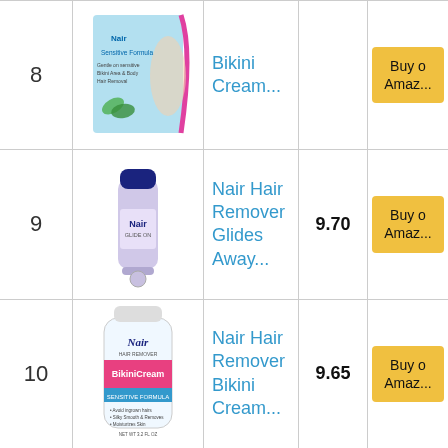| # | Image | Product | Price | Action |
| --- | --- | --- | --- | --- |
| 8 | [image] | Bikini Cream... |  | Buy on Amaz... |
| 9 | [image] | Nair Hair Remover Glides Away... | 9.70 | Buy on Amaz... |
| 10 | [image] | Nair Hair Remover Bikini Cream... | 9.65 | Buy on Amaz... |